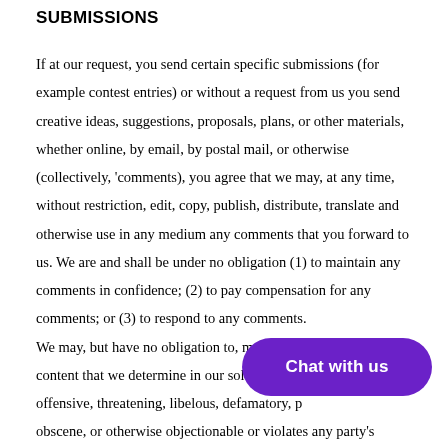SUBMISSIONS
If at our request, you send certain specific submissions (for example contest entries) or without a request from us you send creative ideas, suggestions, proposals, plans, or other materials, whether online, by email, by postal mail, or otherwise (collectively, 'comments), you agree that we may, at any time, without restriction, edit, copy, publish, distribute, translate and otherwise use in any medium any comments that you forward to us. We are and shall be under no obligation (1) to maintain any comments in confidence; (2) to pay compensation for any comments; or (3) to respond to any comments.
We may, but have no obligation to, monitor, edit or remove content that we determine in our sole disc… offensive, threatening, libelous, defamatory, p…g… obscene, or otherwise objectionable or violates any party's
[Figure (other): Purple 'Chat with us' button overlay in bottom-right area of the page]